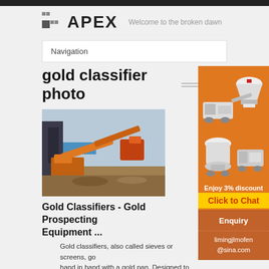APEX — Welcome to the broken dawn
Navigation
gold classifier photo
[Figure (photo): Industrial gold classifier / mining equipment at an outdoor site with orange conveyor belts and machinery]
Gold Classifiers - Gold Prospecting Equipment ...
Gold classifiers, also called sieves or screens, go hand in hand with a gold pan. Designed to fit on the top
[Figure (illustration): Sidebar advertisement showing mining machines (cone crusher, mobile crusher, mill) with orange background, 'Enjoy 3% discount', 'Click to Chat' button, Enquiry link, and limingjlmofen@sina.com contact]